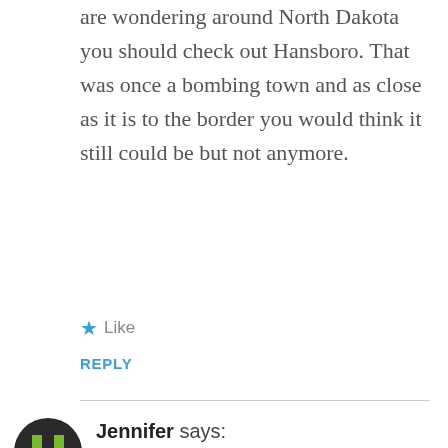are wondering around North Dakota you should check out Hansboro. That was once a bombing town and as close as it is to the border you would think it still could be but not anymore.
★ Like
REPLY
[Figure (illustration): User avatar icon with letter H shape in green on dark circle background]
Jennifer says:
MAY 18, 2012 AT 9:54 AM
I grew up in Knox. I can't believe that it is becomeing so run down. I still have family living there. I have lots of